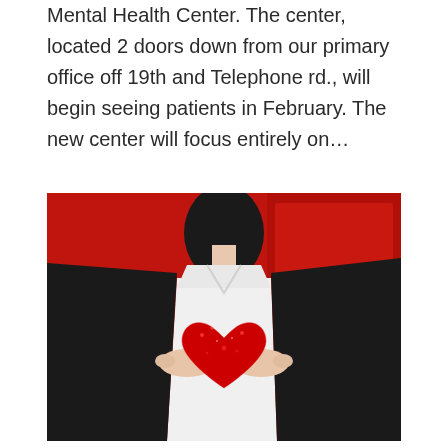Mental Health Center. The center, located 2 doors down from our primary office off 19th and Telephone rd., will begin seeing patients in February. The new center will focus entirely on...
[Figure (photo): A person in a white dress and black jacket holding a red glittery heart-shaped object in front of a red background.]